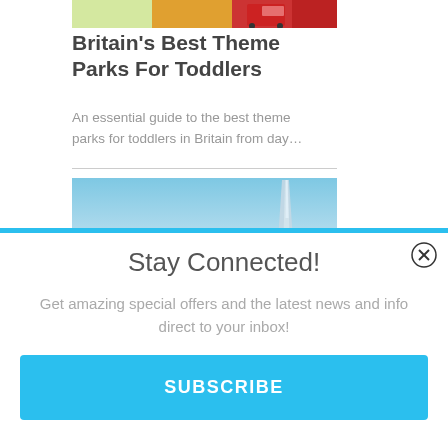[Figure (photo): Top portion of an article card showing a photo of a red bus or theme park scene]
Britain’s Best Theme Parks For Toddlers
An essential guide to the best theme parks for toddlers in Britain from day…
[Figure (photo): Photo of The Shard skyscraper in London against a blue sky]
Stay Connected!
Get amazing special offers and the latest news and info direct to your inbox!
SUBSCRIBE